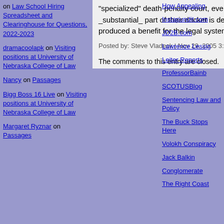on Law School Hiring Spreadsheet and Clearinghouse for Questions, 2022-2023
dramacoolapk on Visiting positions at University of Nebraska College of Law
Nancy on Passages
Bigg Boss 16 Live on Visiting positions at University of Nebraska College of Law
Margaret Ryznar on Passages
"specialized" death-penalty court, even one where only a _substantial_ part of their docket is death penalty cases, has produced a benefit for the legal system as a whole?
Posted by: Steve Vladeck | Nov 29, 2005 3:07:10 PM
The comments to this entry are closed.
How Appealing
Instapundit.com
JD2B.com
Lawrence Lessig
Leiter Reports
ProfessorBainb
SCOTUSBlog
Sentencing Law and Policy
The Buck Stops Here
Volokh Conspiracy
Jack Balkin
Conglomerate
The Right Coast